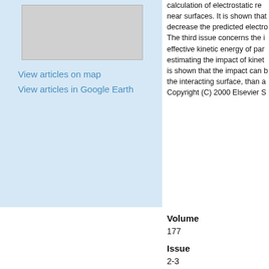[Figure (map): A small gray map thumbnail showing article locations]
View articles on map
View articles in Google Earth
calculation of electrostatic re... near surfaces. It is shown that... decrease the predicted electro... The third issue concerns the i... effective kinetic energy of par... estimating the impact of kinet... is shown that the impact can b... the interacting surface, than a... Copyright (C) 2000 Elsevier S
Volume
177
Issue
2-3
First Page
111
Last Page
122
DOI
10.1016/S0927-7757(00)006
Recommended Citation